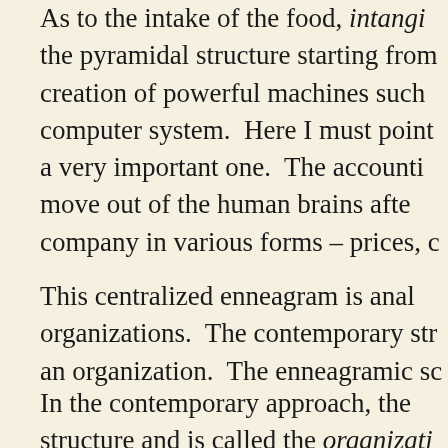As to the intake of the food, intangi the pyramidal structure starting from creation of powerful machines such computer system.  Here I must point a very important one.  The accounti move out of the human brains afte company in various forms – prices, c
This centralized enneagram is anal organizations.  The contemporary str an organization.  The enneagramic sc
In the contemporary approach, the structure and is called the organizati